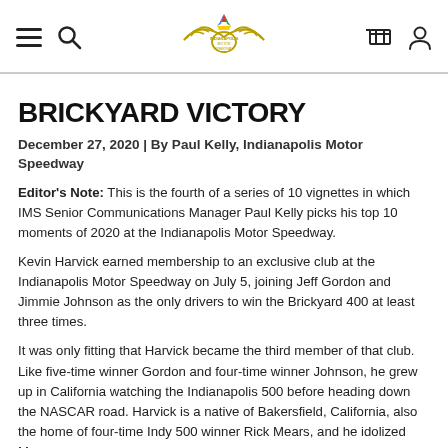Indianapolis Motor Speedway navigation header with hamburger menu, search, logo, cart, and user icons
BRICKYARD VICTORY
December 27, 2020 | By Paul Kelly, Indianapolis Motor Speedway
Editor's Note: This is the fourth of a series of 10 vignettes in which IMS Senior Communications Manager Paul Kelly picks his top 10 moments of 2020 at the Indianapolis Motor Speedway.
Kevin Harvick earned membership to an exclusive club at the Indianapolis Motor Speedway on July 5, joining Jeff Gordon and Jimmie Johnson as the only drivers to win the Brickyard 400 at least three times.
It was only fitting that Harvick became the third member of that club. Like five-time winner Gordon and four-time winner Johnson, he grew up in California watching the Indianapolis 500 before heading down the NASCAR road. Harvick is a native of Bakersfield, California, also the home of four-time Indy 500 winner Rick Mears, and he idolized Mears as a young